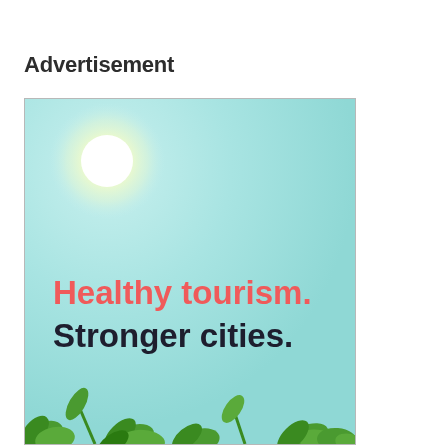Advertisement
[Figure (illustration): Advertisement banner with a light blue sky gradient background, a bright white sun with yellow glow in the upper-left area, green tropical plants/foliage along the bottom edge, and bold text reading 'Healthy tourism. Stronger cities.']